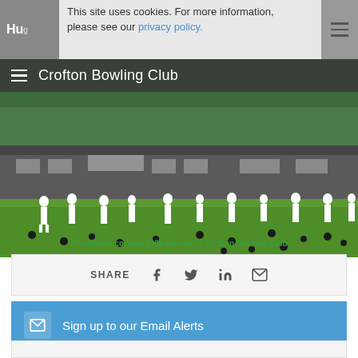This site uses cookies. For more information, please see our privacy policy.
Crofton Bowling Club
[Figure (photo): Outdoor lawn bowls game with many players dressed in white on a green lawn, with a clubhouse building in the background surrounded by trees]
All website content 2009-present © Crofton Bowling Club
SHARE
Sign up to our Email Alerts